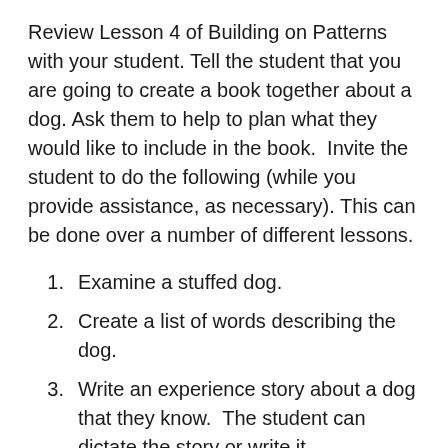Review Lesson 4 of Building on Patterns with your student. Tell the student that you are going to create a book together about a dog. Ask them to help to plan what they would like to include in the book.  Invite the student to do the following (while you provide assistance, as necessary). This can be done over a number of different lessons.
1. Examine a stuffed dog.
2. Create a list of words describing the dog.
3. Write an experience story about a dog that they know.  The student can dictate the story or write it themselves.  For